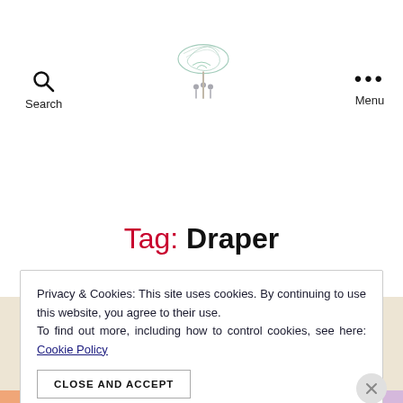Search | [Logo illustration] | Menu
Tag: Draper
Privacy & Cookies: This site uses cookies. By continuing to use this website, you agree to their use. To find out more, including how to control cookies, see here: Cookie Policy
CLOSE AND ACCEPT